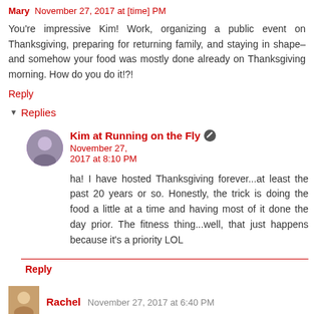Mary November 27, 2017 at [time] PM
You're impressive Kim! Work, organizing a public event on Thanksgiving, preparing for returning family, and staying in shape– and somehow your food was mostly done already on Thanksgiving morning. How do you do it!?!
Reply
▾ Replies
Kim at Running on the Fly  November 27, 2017 at 8:10 PM
ha! I have hosted Thanksgiving forever...at least the past 20 years or so. Honestly, the trick is doing the food a little at a time and having most of it done the day prior. The fitness thing...well, that just happens because it's a priority LOL
Reply
Rachel  November 27, 2017 at 6:40 PM